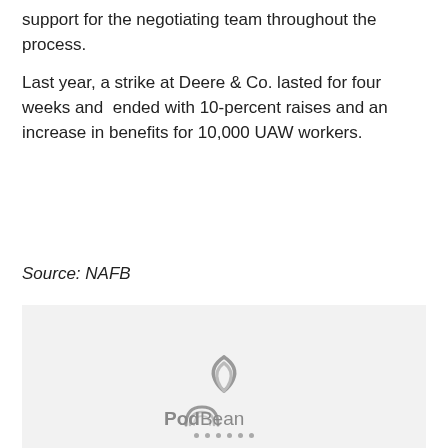support for the negotiating team throughout the process.
Last year, a strike at Deere & Co. lasted for four weeks and ended with 10-percent raises and an increase in benefits for 10,000 UAW workers.
Source: NAFB
[Figure (logo): PodBean podcast player logo with arc/wifi icon above the text 'PodBean' and a row of dots below]